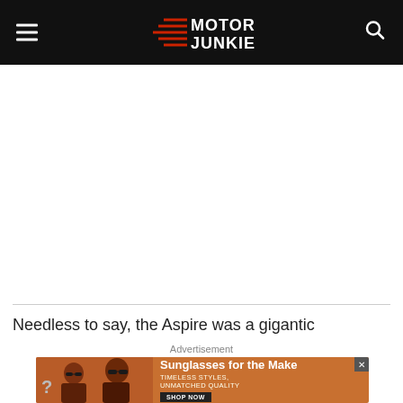Motor Junkie
[Figure (illustration): Large white/empty content area below header, likely where a video or image was embedded]
Needless to say, the Aspire was a gigantic
Advertisement
[Figure (photo): Advertisement banner: Sunglasses for the Make — two women wearing sunglasses on orange background. Tagline: TIMELESS STYLES, UNMATCHED QUALITY. Shop Now button.]